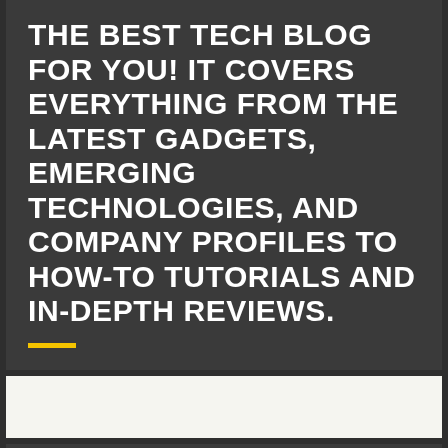THE BEST TECH BLOG FOR YOU! IT COVERS EVERYTHING FROM THE LATEST GADGETS, EMERGING TECHNOLOGIES, AND COMPANY PROFILES TO HOW-TO TUTORIALS AND IN-DEPTH REVIEWS.
[Figure (other): Empty white/light colored block - likely an image placeholder]
PAGES